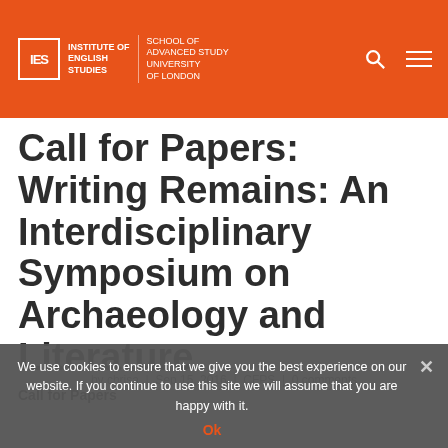IES | INSTITUTE OF ENGLISH STUDIES | SCHOOL OF ADVANCED STUDY UNIVERSITY OF LONDON
Call for Papers: Writing Remains: An Interdisciplinary Symposium on Archaeology and Literature
by chrisa | Sep 15, 2016 | CFPS | 0 comments
Call for Papers
We use cookies to ensure that we give you the best experience on our website. If you continue to use this site we will assume that you are happy with it.
Ok